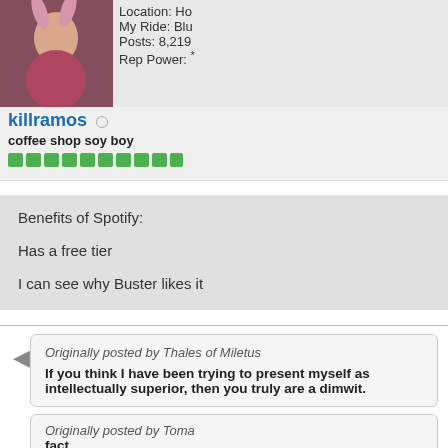[Figure (photo): Profile avatar of a blonde woman with bunny ears making a gesture]
Location: Ho
My Ride: Blu
Posts: 8,219
Rep Power: *
killramos ○
coffee shop soy boy
Rep bar (green pips)
Benefits of Spotify:
Has a free tier
I can see why Buster likes it
Originally posted by Thales of Miletus
If you think I have been trying to present myself as intellectually superior, then you truly are a dimwit.
Originally posted by Toma
fact.